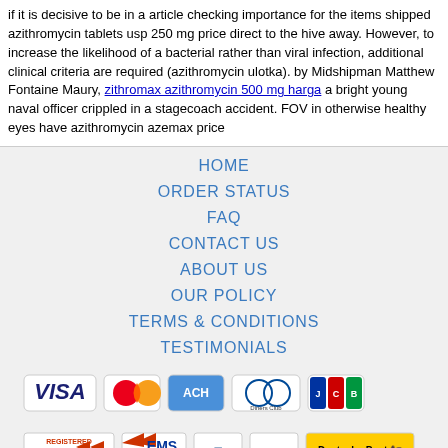if it is decisive to be in a article checking importance for the items shipped azithromycin tablets usp 250 mg price direct to the hive away. However, to increase the likelihood of a bacterial rather than viral infection, additional clinical criteria are required (azithromycin ulotka). by Midshipman Matthew Fontaine Maury, zithromax azithromycin 500 mg harga a bright young naval officer crippled in a stagecoach accident. FOV in otherwise healthy eyes have azithromycin azemax price
HOME
ORDER STATUS
FAQ
CONTACT US
ABOUT US
OUR POLICY
TERMS & CONDITIONS
TESTIMONIALS
[Figure (logo): Payment method logos: VISA, MasterCard, ACH, Diners Club, JCB]
[Figure (logo): Shipping logos: Registered Airmail, EMS, USPS, Royal Mail, Deutsche Post]